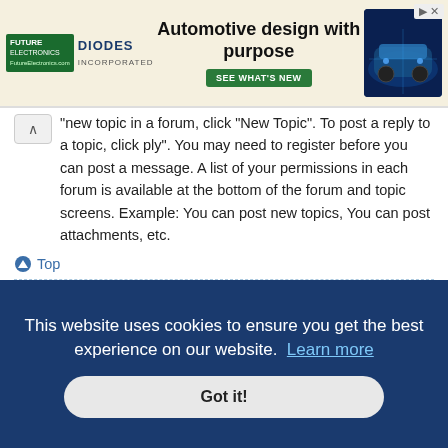[Figure (screenshot): Advertisement banner for Future Electronics and Diodes Inc. with headline 'Automotive design with purpose' and a 'SEE WHAT'S NEW' button, with a car circuit board image on the right]
new topic in a forum, click "New Topic". To post a reply to a topic, click ply". You may need to register before you can post a message. A list of your permissions in each forum is available at the bottom of the forum and topic screens. Example: You can post new topics, You can post attachments, etc.
Top
How do I edit or delete a post?
Unless you are a board administrator or moderator, you can only edit or delete your own posts. You can edit a post by clicking the edit button for the relevant post, sometimes for only a limited time after the post was made. If someone has already replied to the post, you will find a small piece of text output below the post when you return to the topic which lists the number of times you edited it along with the date and time. This will only appear if someone else made a reply; it will not appear if a moderator or administrator edited the post, though they may leave a note as to why they've edited the post at their discretion. Please note that normal users cannot delete a post once someone has replied.
This website uses cookies to ensure you get the best experience on our website.  Learn more
Got it!
Panel. Once created, you can check the Attach a signature box on the posting